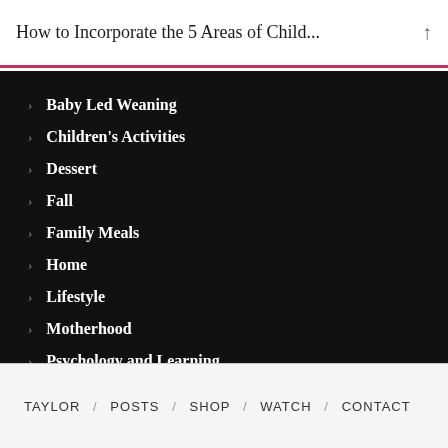How to Incorporate the 5 Areas of Child...
Baby Led Weaning
Children's Activities
Dessert
Fall
Family Meals
Home
Lifestyle
Motherhood
Psychology and Learning
Recipes & Meals
TAYLOR / POSTS / SHOP / WATCH / CONTACT